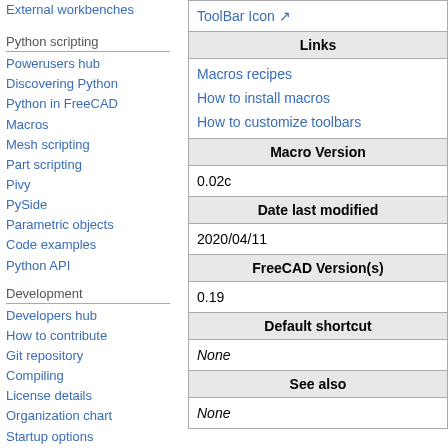External workbenches
Python scripting
Powerusers hub
Discovering Python
Python in FreeCAD
Macros
Mesh scripting
Part scripting
Pivy
PySide
Parametric objects
Code examples
Python API
Development
Developers hub
How to contribute
Git repository
Compiling
License details
Organization chart
Startup options
Branding
| Links |
| --- |
| Macros recipes
How to install macros
How to customize toolbars |
| Macro Version |
| 0.02c |
| Date last modified |
| 2020/04/11 |
| FreeCAD Version(s) |
| 0.19 |
| Default shortcut |
| None |
| See also |
| None |